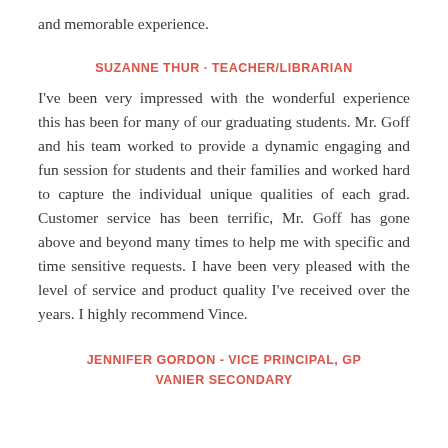and memorable experience.
SUZANNE THUR · TEACHER/LIBRARIAN
I've been very impressed with the wonderful experience this has been for many of our graduating students. Mr. Goff and his team worked to provide a dynamic engaging and fun session for students and their families and worked hard to capture the individual unique qualities of each grad. Customer service has been terrific, Mr. Goff has gone above and beyond many times to help me with specific and time sensitive requests. I have been very pleased with the level of service and product quality I've received over the years. I highly recommend Vince.
JENNIFER GORDON - VICE PRINCIPAL, GP VANIER SECONDARY